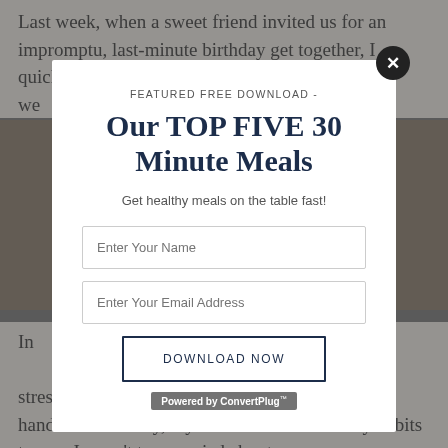Last week, when a sweet friend invited us for an impromptu, last-minute birthday get together, I quickly scrambled to throw together something we...ill.
[Figure (screenshot): Background food photo strip]
In...he stress of being around junk food can be hard to handle. Thankfully, my new friend has healthy habits too, so I wasn't too worried about a
[Figure (screenshot): Modal popup: FEATURED FREE DOWNLOAD - Our TOP FIVE 30 Minute Meals. Get healthy meals on the table fast! Form with Enter Your Name, Enter Your Email Address fields, and DOWNLOAD NOW button. Powered by ConvertPlug.]